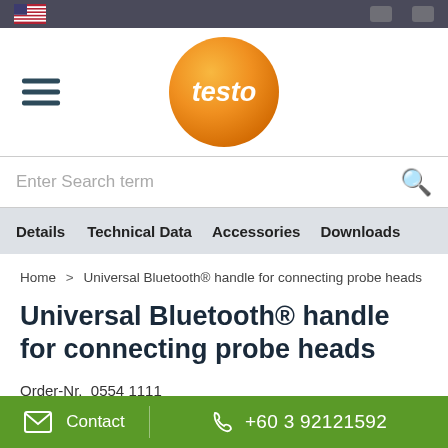[Figure (screenshot): Mobile website screenshot of Testo product page for Universal Bluetooth handle]
testo logo and navigation header
Enter Search term
Details  Technical Data  Accessories  Downloads
Home > Universal Bluetooth® handle for connecting probe heads
Universal Bluetooth® handle for connecting probe heads
Order-Nr.  0554 1111
Contact  +60 3 92121592